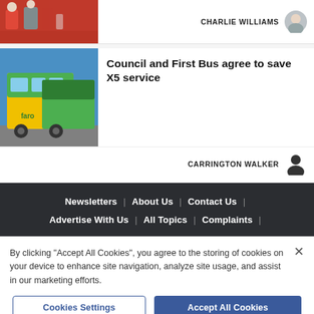[Figure (photo): Partial top article card showing people standing, with author name CHARLIE WILLIAMS and avatar photo]
CHARLIE WILLIAMS
[Figure (photo): Yellow and green First Bus coaches parked in a row]
Council and First Bus agree to save X5 service
CARRINGTON WALKER
Newsletters | About Us | Contact Us | Advertise With Us | All Topics | Complaints |
By clicking “Accept All Cookies”, you agree to the storing of cookies on your device to enhance site navigation, analyze site usage, and assist in our marketing efforts.
Cookies Settings
Accept All Cookies